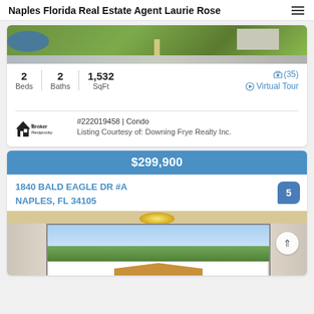Naples Florida Real Estate Agent Laurie Rose
[Figure (photo): Aerial view of property with green lawn, water feature, road, and structure]
2 Beds | 2 Baths | 1,532 SqFt  📷 (35)  ▶ Virtual Tour
[Figure (logo): Broker Reciprocity logo]
#222019458 | Condo
Listing Courtesy of: Downing Frye Realty Inc.
$299,900
1840 BALD EAGLE DR #A
NAPLES, FL 34105
[Figure (photo): Interior photo of room with large sliding glass doors, curtains, pendant lights, and view of trees and neighboring house roof]